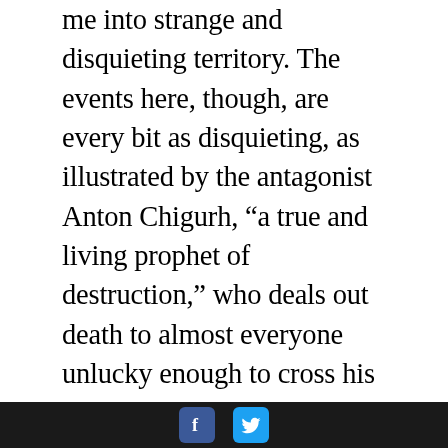me into strange and disquieting territory. The events here, though, are every bit as disquieting, as illustrated by the antagonist Anton Chigurh, “a true and living prophet of destruction,” who deals out death to almost everyone unlucky enough to cross his path. He does not act simply out of vengeance, although at times it may seem so: it is Chigurh’s complete consistency in his clinical philosophy that makes him inhuman. As he explains to one of his victims before the inevitable end, “I had no say in the matter. Every moment in your life is a turning and every one a choosing. Somewhere you made a choice. All followed to this. The accounting is scrupulous. The shape is drawn. No line can be erased.” The aging Sheriff Bell, in whose territory these incidents take place, tracks Chigurh and those like him who are evidence of an unavoidable and brutal future.
[Facebook icon] [Twitter icon]